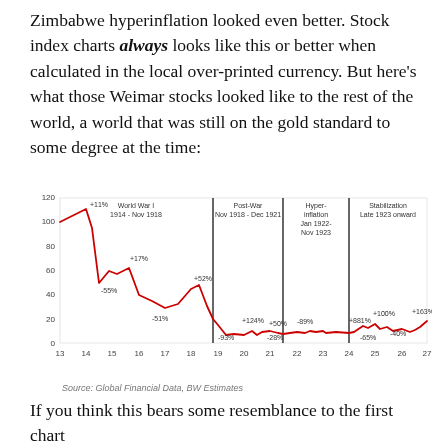Zimbabwe hyperinflation looked even better. Stock index charts always looks like this or better when calculated in the local over-printed currency. But here's what those Weimar stocks looked like to the rest of the world, a world that was still on the gold standard to some degree at the time:
[Figure (line-chart): Line chart showing Weimar Republic stock index in gold-equivalent terms, divided into phases: World War I (1914-Nov 1918), Post-War (Nov 1918-Dec 1921), Hyper-inflation (Jan 1922-Nov 1923), Stabilization (Late 1923 onward). The line shows a sharp decline from ~100 to near 0 during hyperinflation, with partial recovery during stabilization.]
Source: Global Financial Data, BW Estimates
If you think this bears some resemblance to the first chart